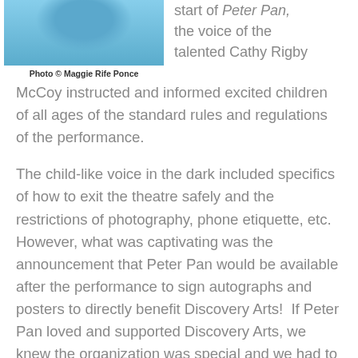[Figure (photo): Photo of a person in a blue/teal shirt, cropped to show upper body area]
Photo © Maggie Rife Ponce
start of Peter Pan, the voice of the talented Cathy Rigby McCoy instructed and informed excited children of all ages of the standard rules and regulations of the performance.
The child-like voice in the dark included specifics of how to exit the theatre safely and the restrictions of photography, phone etiquette, etc.  However, what was captivating was the announcement that Peter Pan would be available after the performance to sign autographs and posters to directly benefit Discovery Arts!  If Peter Pan loved and supported Discovery Arts, we knew the organization was special and we had to be a part of it.
And with...